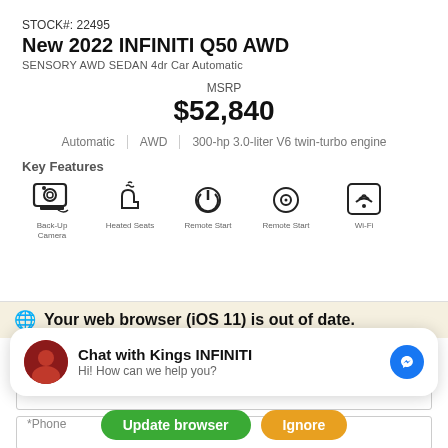STOCK#: 22495
New 2022 INFINITI Q50 AWD
SENSORY AWD SEDAN 4dr Car Automatic
MSRP $52,840
Automatic   AWD   300-hp 3.0-liter V6 twin-turbo engine
Key Features
[Figure (infographic): Five car feature icons: Back-Up Camera, Heated Seats, Remote Start, Remote Start, Wi-Fi]
*First Name  *Last Name
*Email
*Phone
Get Our Best Price
Your web browser (iOS 11) is out of date.
Chat with Kings INFINITI
Hi! How can we help you?
Update browser   Ignore